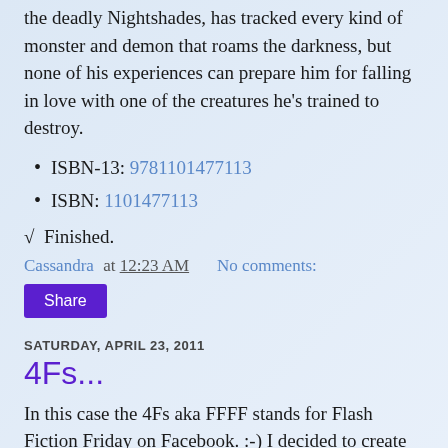the deadly Nightshades, has tracked every kind of monster and demon that roams the darkness, but none of his experiences can prepare him for falling in love with one of the creatures he's trained to destroy.
ISBN-13: 9781101477113
ISBN: 1101477113
√  Finished.
Cassandra at 12:23 AM    No comments:
Share
SATURDAY, APRIL 23, 2011
4Fs...
In this case the 4Fs aka FFFF stands for Flash Fiction Friday on Facebook. :-) I decided to create an author fan page on Facebook, then realized my 1,000 plus fans on my regular profile would probably never make the commute to my fan